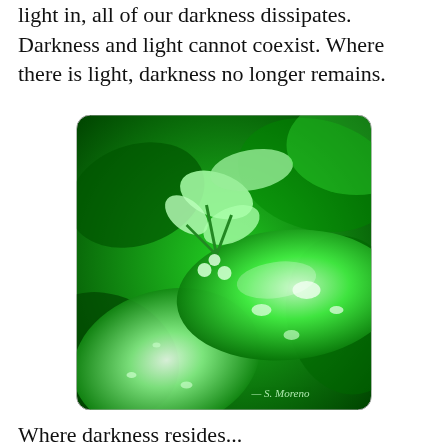light in, all of our darkness dissipates. Darkness and light cannot coexist. Where there is light, darkness no longer remains.
[Figure (photo): Close-up photograph of green leaves with water droplets, heavily color-shifted to bright green tones. A watermark reads 'S. Moreno' in the bottom right corner.]
Where darkness resides...